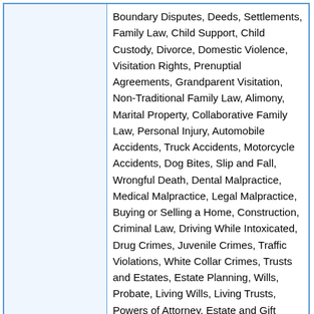Boundary Disputes, Deeds, Settlements, Family Law, Child Support, Child Custody, Divorce, Domestic Violence, Visitation Rights, Prenuptial Agreements, Grandparent Visitation, Non-Traditional Family Law, Alimony, Marital Property, Collaborative Family Law, Personal Injury, Automobile Accidents, Truck Accidents, Motorcycle Accidents, Dog Bites, Slip and Fall, Wrongful Death, Dental Malpractice, Medical Malpractice, Legal Malpractice, Buying or Selling a Home, Construction, Criminal Law, Driving While Intoxicated, Drug Crimes, Juvenile Crimes, Traffic Violations, White Collar Crimes, Trusts and Estates, Estate Planning, Wills, Probate, Living Wills, Living Trusts, Powers of Attorney, Estate and Gift Taxation, Contested Wills, Estate Litigation, Wealth Preservation, Retirement Planning, Inheritance, Small Business Law, Buying and Selling Businesses, Partnership Law, General Business Counseling, Business Contracts, Business Disputes, Business Formation, Business Start-Up, Professional Licensing, Collections.
| Establish Year: | - |